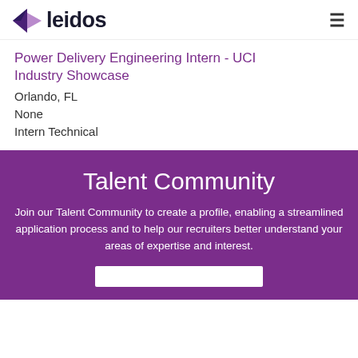leidos
Power Delivery Engineering Intern - UCI Industry Showcase
Orlando, FL
None
Intern Technical
Talent Community
Join our Talent Community to create a profile, enabling a streamlined application process and to help our recruiters better understand your areas of expertise and interest.